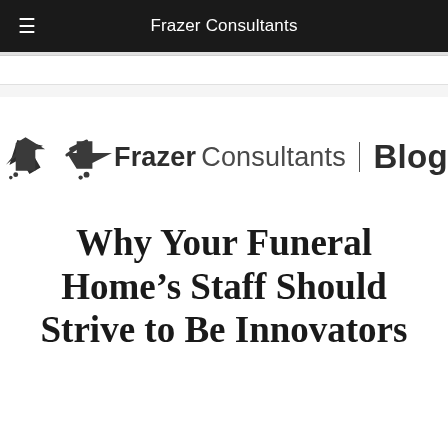Frazer Consultants
[Figure (logo): Frazer Consultants Blog logo with stylized arrow/pen icon on the left, followed by bold 'Frazer' text, regular 'Consultants' text, a vertical divider, and bold 'Blog' text]
Why Your Funeral Home’s Staff Should Strive to Be Innovators